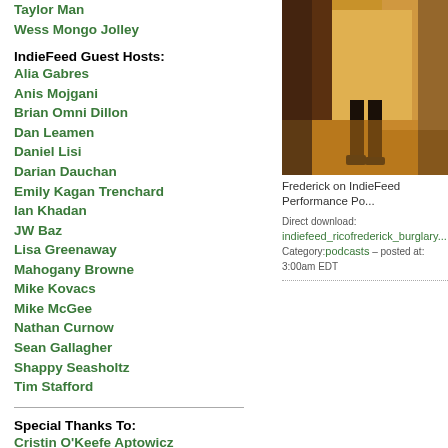Taylor Man
Wess Mongo Jolley
IndieFeed Guest Hosts:
Alia Gabres
Anis Mojgani
Brian Omni Dillon
Dan Leamen
Daniel Lisi
Darian Dauchan
Emily Kagan Trenchard
Ian Khadan
JW Baz
Lisa Greenaway
Mahogany Browne
Mike Kovacs
Mike McGee
Nathan Curnow
Sean Gallagher
Shappy Seasholtz
Tim Stafford
Special Thanks To:
Cristin O'Keefe Aptowicz
Badilisha Poetry Radio
Going Down Swinging
Poetry Slam Inc.
Ranch Rhymes
(Cowboy Poetry Podcast)
Shout Factory:
[Figure (photo): Person standing in a doorway or hallway with warm orange/amber lighting, silhouette visible from legs down.]
Frederick on IndieFeed Performance Po...
Direct download: indiefeed_ricofrederick_burglary...
Category:podcasts – posted at: 3:00am EDT